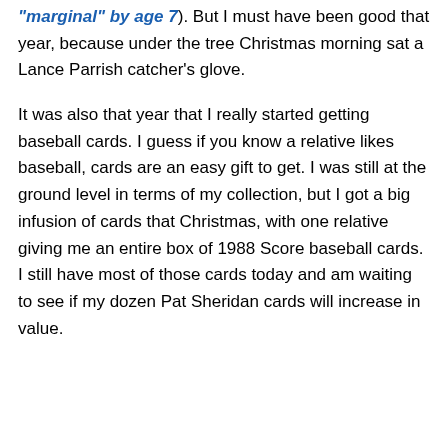"marginal" by age 7). But I must have been good that year, because under the tree Christmas morning sat a Lance Parrish catcher's glove.
It was also that year that I really started getting baseball cards. I guess if you know a relative likes baseball, cards are an easy gift to get. I was still at the ground level in terms of my collection, but I got a big infusion of cards that Christmas, with one relative giving me an entire box of 1988 Score baseball cards. I still have most of those cards today and am waiting to see if my dozen Pat Sheridan cards will increase in value.